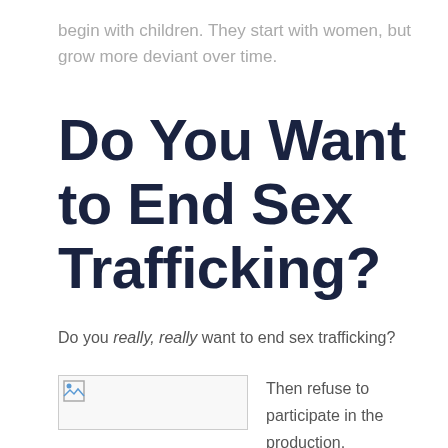begin with children. They start with women, but grow more deviant over time.
Do You Want to End Sex Trafficking?
Do you really, really want to end sex trafficking?
[Figure (photo): Image placeholder (broken image icon)]
Then refuse to participate in the production, distribution, or